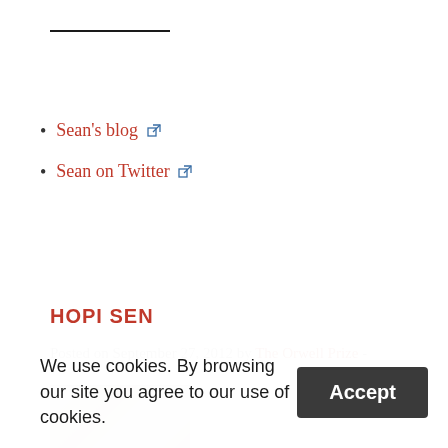Sean's blog [external link]
Sean on Twitter [external link]
HOPI SEN
Posted on September 27, 2012 by The Orwell Prize -
[Figure (photo): Partial photo of a person, partially obscured]
We use cookies. By browsing our site you agree to our use of cookies.